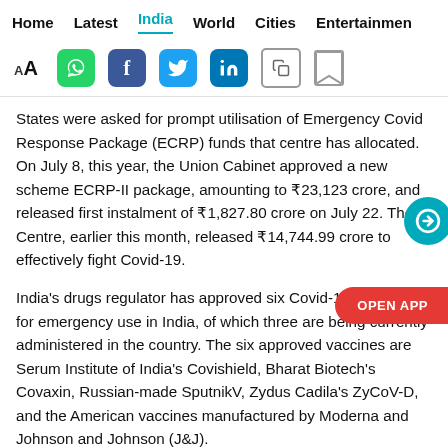Home  Latest  India  World  Cities  Entertainment
States were asked for prompt utilisation of Emergency Covid Response Package (ECRP) funds that centre has allocated. On July 8, this year, the Union Cabinet approved a new scheme ECRP-II package, amounting to ₹23,123 crore, and released first instalment of ₹1,827.80 crore on July 22. The Centre, earlier this month, released ₹14,744.99 crore to effectively fight Covid-19.
India's drugs regulator has approved six Covid-19 vaccines for emergency use in India, of which three are being currently administered in the country. The six approved vaccines are Serum Institute of India's Covishield, Bharat Biotech's Covaxin, Russian-made SputnikV, Zydus Cadila's ZyCoV-D, and the American vaccines manufactured by Moderna and Johnson and Johnson (J&J).
Government experts have been reiterating that the third wave